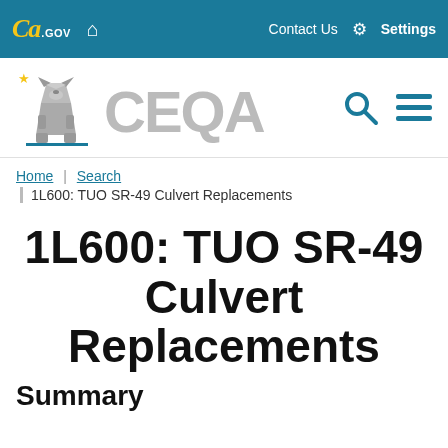CA.GOV | Home icon | Contact Us | Settings
[Figure (logo): CEQA California state website logo with bear mascot, search icon, and hamburger menu]
Home | Search | 1L600: TUO SR-49 Culvert Replacements
1L600: TUO SR-49 Culvert Replacements
Summary